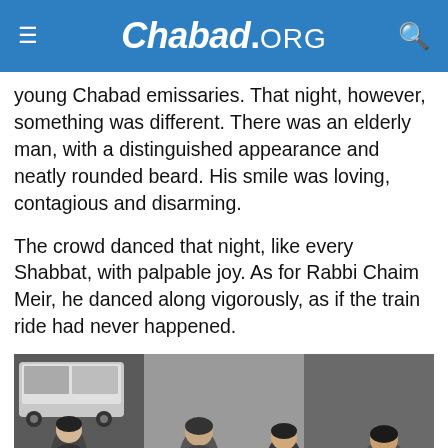Chabad.ORG
young Chabad emissaries. That night, however, something was different. There was an elderly man, with a distinguished appearance and neatly rounded beard. His smile was loving, contagious and disarming.
The crowd danced that night, like every Shabbat, with palpable joy. As for Rabbi Chaim Meir, he danced along vigorously, as if the train ride had never happened.
[Figure (photo): Black and white photograph of people dancing, with a van visible in the background on the left side.]